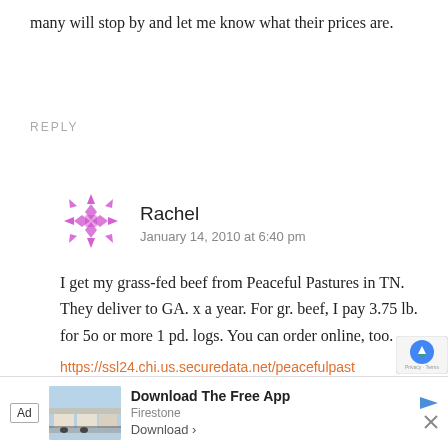many will stop by and let me know what their prices are.
REPLY
Rachel
January 14, 2010 at 6:40 pm
I get my grass-fed beef from Peaceful Pastures in TN. They deliver to GA. x a year. For gr. beef, I pay 3.75 lb. for 5o or more 1 pd. logs. You can order online, too.
https://ssl24.chi.us.securedata.net/peacefulpastures.com/merchantmanager/index.php?cPath=
[Figure (logo): Gravatar avatar icon for user Rachel - decorative purple geometric pattern circle]
[Figure (screenshot): Advertisement banner: Download The Free App - Firestone, with ad label, store image, and download button]